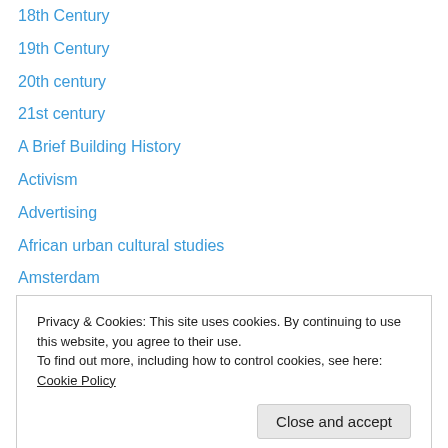18th Century
19th Century
20th century
21st century
A Brief Building History
Activism
Advertising
African urban cultural studies
Amsterdam
Andy Merrifield
Angela McRobbie
Anthropology
Antonio Benítez Rojo
Privacy & Cookies: This site uses cookies. By continuing to use this website, you agree to their use.
To find out more, including how to control cookies, see here: Cookie Policy
Berlin